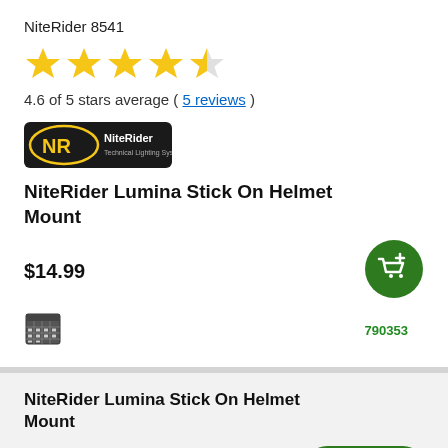NiteRider 8541
[Figure (other): Star rating: 4 full stars and 1 half star (yellow)]
4.6 of 5 stars average ( 5 reviews )
[Figure (logo): NiteRider brand logo — black oval with yellow NR initials and white NiteRider text]
NiteRider Lumina Stick On Helmet Mount
$14.99
[Figure (other): Green circular add-to-cart button with shopping cart icon]
790353
[Figure (other): Calendar/availability icon (small grid)]
NiteRider Lumina Stick On Helmet Mount
$14.99
[Figure (other): Green rounded Buy button with shopping cart icon]